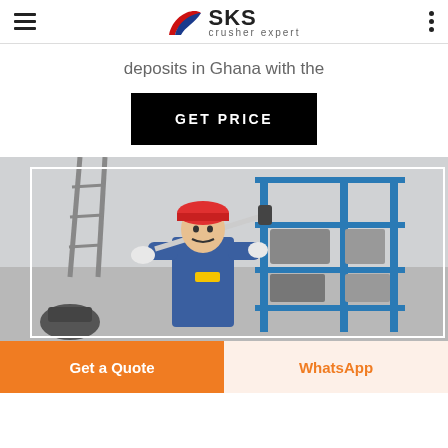SKS crusher expert
deposits in Ghana with the
GET PRICE
[Figure (photo): A worker in a blue uniform and red hard hat holding a tool, standing in front of a blue industrial shelving unit in a factory or workshop setting.]
Get a Quote
WhatsApp